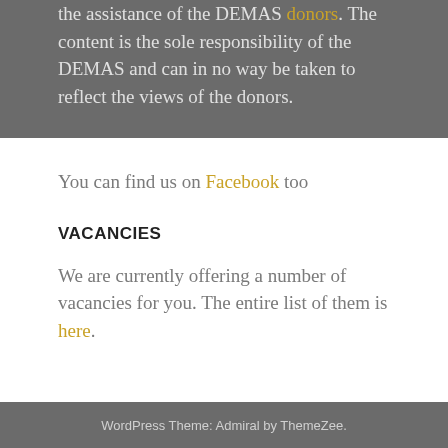the assistance of the DEMAS donors. The content is the sole responsibility of the DEMAS and can in no way be taken to reflect the views of the donors.
You can find us on Facebook too
VACANCIES
We are currently offering a number of vacancies for you. The entire list of them is here.
WordPress Theme: Admiral by ThemeZee.